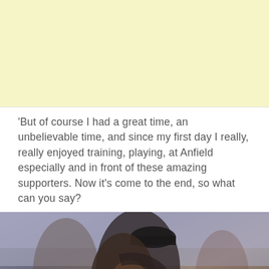[Figure (other): Yellow/cream advertisement banner placeholder area]
‘But of course I had a great time, an unbelievable time, and since my first day I really, really enjoyed training, playing, at Anfield especially and in front of these amazing supporters. Now it’s come to the end, so what can you say?
[Figure (photo): Two people embracing in a hug on a football pitch, with a blurred crowd in the background. One person wearing a black cap and dark jacket, the other in red/dark kit.]